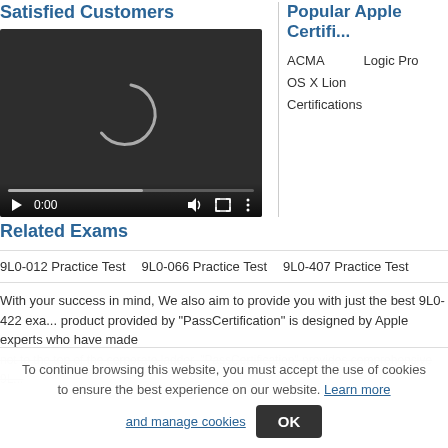Satisfied Customers
[Figure (screenshot): Video player with dark background showing a loading spinner, playback controls at bottom including play button, 0:00 timestamp, volume, fullscreen, and menu icons with a progress bar.]
Popular Apple Certifi...
ACMA   Logic Pro
OS X Lion
Certifications
Related Exams
9L0-012 Practice Test   9L0-066 Practice Test   9L0-407 Practice Test
With your success in mind, We also aim to provide you with just the best 9L0-422 exa... product provided by "PassCertification" is designed by Apple experts who have made... not to the top of the corporate ladder. "PassCertification" provides comprehensive 9L...
To continue browsing this website, you must accept the use of cookies to ensure the best experience on our website. Learn more and manage cookies